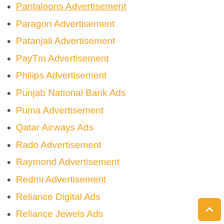Pantaloons Advertisement
Paragon Advertisement
Patanjali Advertisement
PayTm Advertisement
Philips Advertisement
Punjab National Bank Ads
Puma Advertisement
Qatar Airways Ads
Rado Advertisement
Raymond Advertisement
Redmi Advertisement
Reliance Digital Ads
Reliance Jewels Ads
Renault Advertisement
Rolex Watch Advertisement